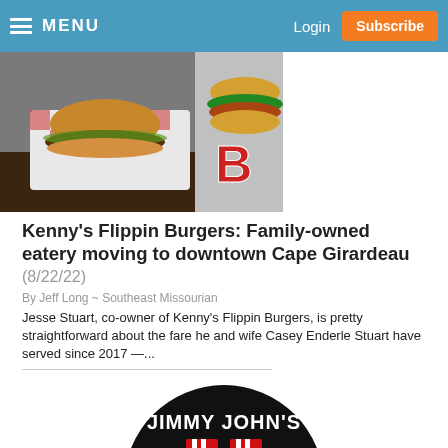MENU   Login   Subscribe
[Figure (photo): Photo of Kenny's Flippin Burgers food item (burger in red checkered basket) with restaurant signage in background]
Kenny’s Flippin Burgers: Family-owned eatery moving to downtown Cape Girardeau (8/22/22)
By Jeff Long ~ Southeast Missourian
Jesse Stuart, co-owner of Kenny’s Flippin Burgers, is pretty straightforward about the fare he and wife Casey Enderle Stuart have served since 2017 —...
[Figure (logo): Jimmy John's logo — black circular badge with white text JIMMY JOHN'S and red/white design element]